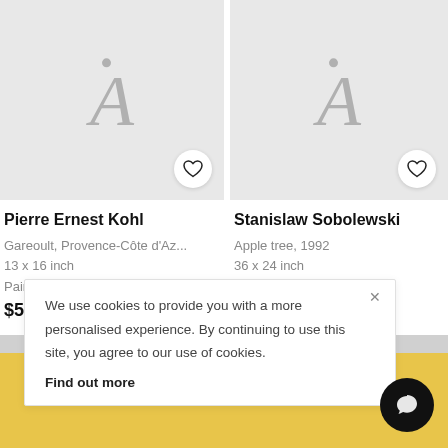[Figure (screenshot): Artwork placeholder image with .A logo for Pierre Ernest Kohl painting]
[Figure (screenshot): Artwork placeholder image with .A logo for Stanislaw Sobolewski painting]
Pierre Ernest Kohl
Gareoult, Provence-Côte d'Az...
13 x 16 inch
Painting
$538
Stanislaw Sobolewski
Apple tree, 1992
36 x 24 inch
Painting
$766
We use cookies to provide you with a more personalised experience. By continuing to use this site, you agree to our use of cookies.
Find out more
work no...